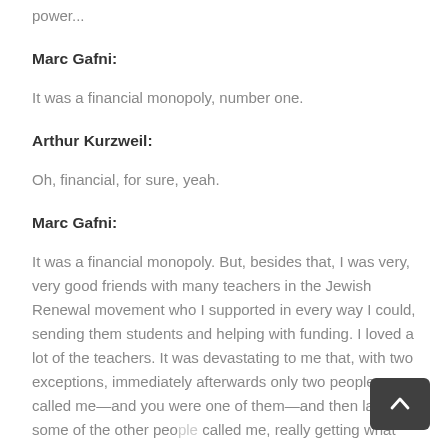power...
Marc Gafni:
It was a financial monopoly, number one.
Arthur Kurzweil:
Oh, financial, for sure, yeah.
Marc Gafni:
It was a financial monopoly. But, besides that, I was very, very good friends with many teachers in the Jewish Renewal movement who I supported in every way I could, sending them students and helping with funding. I loved a lot of the teachers. It was devastating to me that, with two exceptions, immediately afterwards only two people called me—and you were one of them—and then later some of the other people called me, really getting what had happened but afraid to